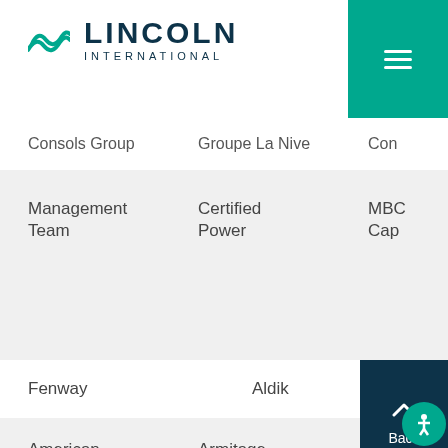[Figure (logo): Lincoln International logo with teal wave icon and dark navy LINCOLN INTERNATIONAL text]
Consols Group
Groupe La Nive
Con
Management Team
Certified Power
MBC Cap
Fenway
Aldik
American Standard
Armitage Venesta
RSE Proc (P...